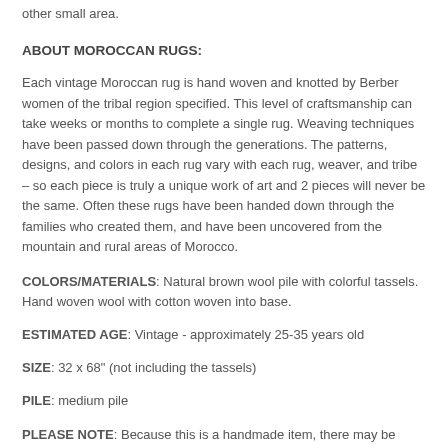other small area.
ABOUT MOROCCAN RUGS:
Each vintage Moroccan rug is hand woven and knotted by Berber women of the tribal region specified. This level of craftsmanship can take weeks or months to complete a single rug. Weaving techniques have been passed down through the generations. The patterns, designs, and colors in each rug vary with each rug, weaver, and tribe – so each piece is truly a unique work of art and 2 pieces will never be the same. Often these rugs have been handed down through the families who created them, and have been uncovered from the mountain and rural areas of Morocco.
COLORS/MATERIALS: Natural brown wool pile with colorful tassels. Hand woven wool with cotton woven into base.
ESTIMATED AGE: Vintage - approximately 25-35 years old
SIZE: 32 x 68" (not including the tassels)
PILE: medium pile
PLEASE NOTE: Because this is a handmade item, there may be slight imperfections in weaving, pattern, or shape. Please note all vintage